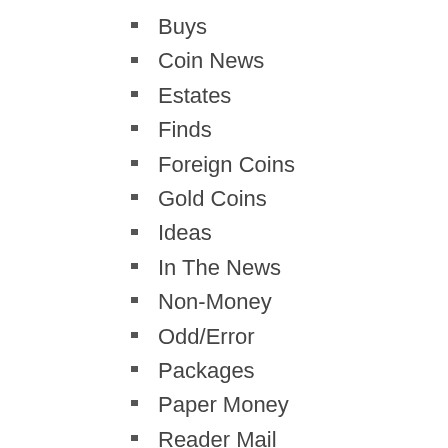Buys
Coin News
Estates
Finds
Foreign Coins
Gold Coins
Ideas
In The News
Non-Money
Odd/Error
Packages
Paper Money
Reader Mail
Resources
Show & Tell
Silver Coins
Storage